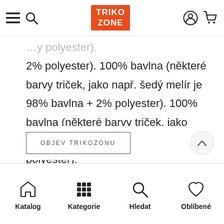TRIKO ZONE (navigation bar with menu, search, logo, account, cart icons)
2% polyester). 100% bavlna (některé barvy triček, jako např. šedý melír je 98% bavlna + 2% polyester). 100% bavlna (některé barvy triček, jako např. šedý melír je 98% bavlna + 2% polyester).
OBJEV TRIKOZÓNU
Katalog  Kategorie  Hledat  Oblíbené